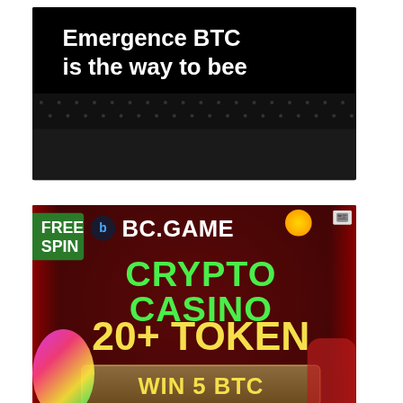[Figure (infographic): Emergence BTC advertisement banner with black background, yellow honeycomb pattern at bottom, white bold text 'Emergence BTC is the way to bee', and a 'Try now' button with yellow border.]
[Figure (infographic): BC.GAME crypto casino advertisement. Dark red/maroon background with curtains. Shows 'FREE SPIN' green banner top-left, BC.GAME logo with icon, 'CRYPTO CASINO' in green text, '20+ TOKEN' in yellow text, 'WIN 5 BTC' in a brown badge, 'PLAY NOW' green button, spin wheel on left, cartoon dinosaur on right, gold coins decor top.]